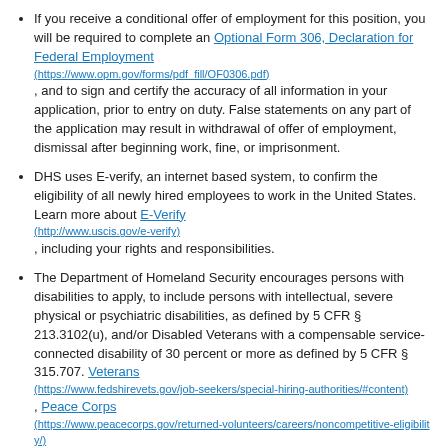If you receive a conditional offer of employment for this position, you will be required to complete an Optional Form 306, Declaration for Federal Employment (https://www.opm.gov/forms/pdf_fill/OF0306.pdf), and to sign and certify the accuracy of all information in your application, prior to entry on duty. False statements on any part of the application may result in withdrawal of offer of employment, dismissal after beginning work, fine, or imprisonment.
DHS uses E-verify, an internet based system, to confirm the eligibility of all newly hired employees to work in the United States. Learn more about E-Verify (http://www.uscis.gov/e-verify), including your rights and responsibilities.
The Department of Homeland Security encourages persons with disabilities to apply, to include persons with intellectual, severe physical or psychiatric disabilities, as defined by 5 CFR § 213.3102(u), and/or Disabled Veterans with a compensable service-connected disability of 30 percent or more as defined by 5 CFR § 315.707. Veterans (https://www.fedshirevets.gov/job-seekers/special-hiring-authorities/#content), Peace Corps (https://www.peacecorps.gov/returned-volunteers/careers/noncompetitive-eligibility/)